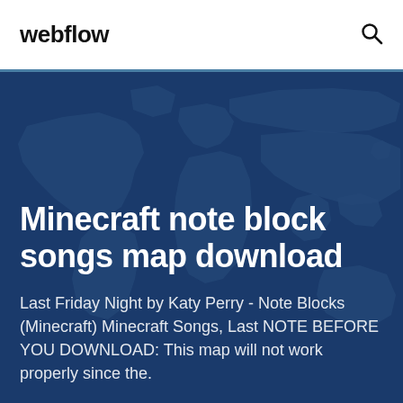webflow
Minecraft note block songs map download
Last Friday Night by Katy Perry - Note Blocks (Minecraft) Minecraft Songs, Last NOTE BEFORE YOU DOWNLOAD: This map will not work properly since the.